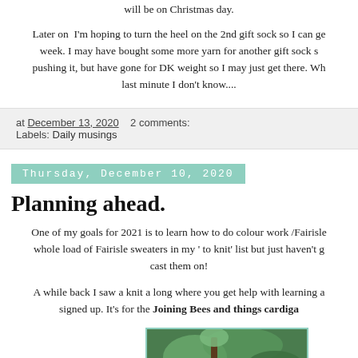will be on Christmas day.
Later on I'm hoping to turn the heel on the 2nd gift sock so I can ge week. I may have bought some more yarn for another gift sock s pushing it, but have gone for DK weight so I may just get there. Wh last minute I don't know....
at December 13, 2020   2 comments:
Labels: Daily musings
Thursday, December 10, 2020
Planning ahead.
One of my goals for 2021 is to learn how to do colour work /Fairisle whole load of Fairisle sweaters in my ' to knit' list but just haven't g cast them on!
A while back I saw a knit a long where you get help with learning a signed up. It's for the Joining Bees and things cardiga
[Figure (photo): Partial view of a knitting or nature related image with green foliage visible]